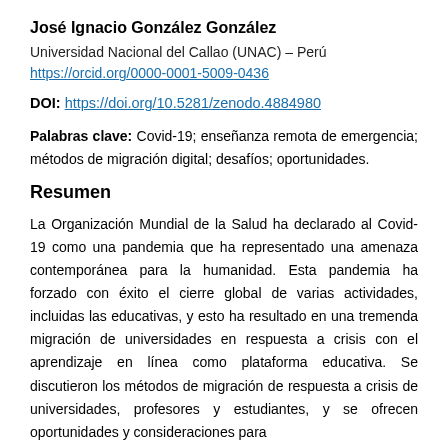José Ignacio González González
Universidad Nacional del Callao (UNAC) – Perú
https://orcid.org/0000-0001-5009-0436
DOI: https://doi.org/10.5281/zenodo.4884980
Palabras clave: Covid-19; enseñanza remota de emergencia; métodos de migración digital; desafíos; oportunidades.
Resumen
La Organización Mundial de la Salud ha declarado al Covid-19 como una pandemia que ha representado una amenaza contemporánea para la humanidad. Esta pandemia ha forzado con éxito el cierre global de varias actividades, incluidas las educativas, y esto ha resultado en una tremenda migración de universidades en respuesta a crisis con el aprendizaje en línea como plataforma educativa. Se discutieron los métodos de migración de respuesta a crisis de universidades, profesores y estudiantes, y se ofrecen oportunidades y consideraciones para